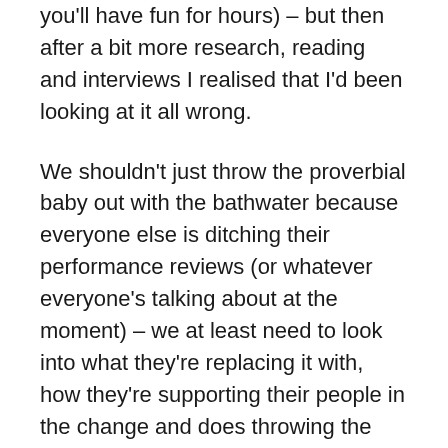you'll have fun for hours) – but then after a bit more research, reading and interviews I realised that I'd been looking at it all wrong.
We shouldn't just throw the proverbial baby out with the bathwater because everyone else is ditching their performance reviews (or whatever everyone's talking about at the moment) – we at least need to look into what they're replacing it with, how they're supporting their people in the change and does throwing the baby out work for us in our context? But when the research stacks up we do have to start thinking differently about how HR happens and what value we add as the people-people of the organisation.